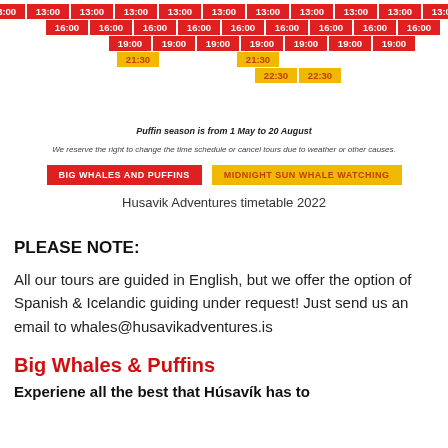[Figure (table-as-image): Timetable grid showing tour departure times (13:00, 16:00, 19:00, 21:30, 22:30) in red and yellow cells across multiple columns]
Puffin season is from 1 May to 20 August
We reserve the right to change the time schedule or cancel tours due to weather or other causes.
[Figure (infographic): Legend showing BIG WHALES AND PUFFINS (red badge) and MIDNIGHT SUN WHALE WATCHING (yellow badge)]
Husavik Adventures timetable 2022
PLEASE NOTE:
All our tours are guided in English, but we offer the option of Spanish & Icelandic guiding under request! Just send us an email to whales@husavikadventures.is
Big Whales & Puffins
Experiene all the best that Húsavík has to